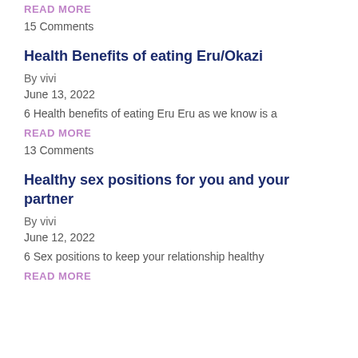READ MORE
15 Comments
Health Benefits of eating Eru/Okazi
By vivi
June 13, 2022
6 Health benefits of eating Eru Eru as we know is a
READ MORE
13 Comments
Healthy sex positions for you and your partner
By vivi
June 12, 2022
6 Sex positions to keep your relationship healthy
READ MORE